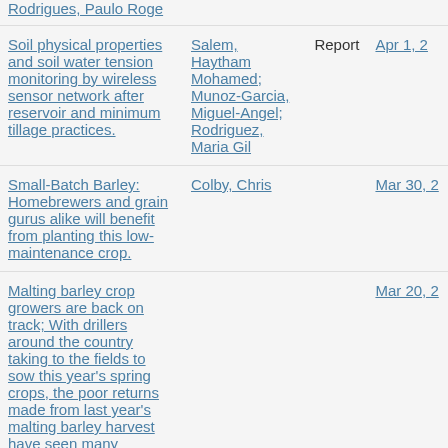| Title | Author | Type | Date |
| --- | --- | --- | --- |
| Rodrigues, Paulo Roge |  |  |  |
| Soil physical properties and soil water tension monitoring by wireless sensor network after reservoir and minimum tillage practices. | Salem, Haytham Mohamed; Munoz-Garcia, Miguel-Angel; Rodriguez, Maria Gil | Report | Apr 1, 2... |
| Small-Batch Barley: Homebrewers and grain gurus alike will benefit from planting this low-maintenance crop. | Colby, Chris |  | Mar 30, 2... |
| Malting barley crop growers are back on track; With drillers around the country taking to the fields to sow this year's spring crops, the poor returns made from last year's malting barley harvest have seen many growers seek alternative crops and markets. |  |  | Mar 20, 2... |
| Green light for PS35m flagship barley 'hub'. | NANCY NICOLSON |  | Mar 20, 2... |
| Saudi Arabia gives Australia a big barley boost. | Rashid Hassan |  | Mar 17, 2... |